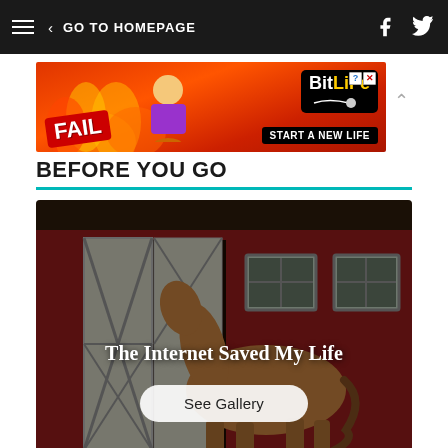GO TO HOMEPAGE
[Figure (photo): BitLife advertisement banner with FAIL text, cartoon character, flames, and 'START A NEW LIFE' tagline]
BEFORE YOU GO
[Figure (photo): Photo of a brown horse standing in front of a red barn with white barn doors and two windows. Overlaid text reads 'The Internet Saved My Life' with a 'See Gallery' button.]